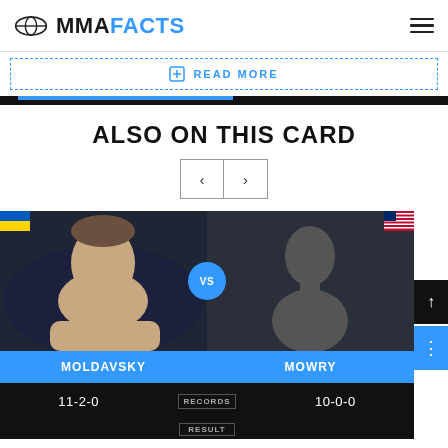MMAFACTS
READ MORE
ALSO ON THIS CARD
[Figure (photo): Fighter matchup card showing Moldavsky vs Mowry with Ukrainian and US flags, VS circle in center, blue name banner, records 11-2-0 vs 10-0-0]
| MOLDAVSKY | RECORDS | MOWRY |
| --- | --- | --- |
| 11-2-0 | RECORDS | 10-0-0 |